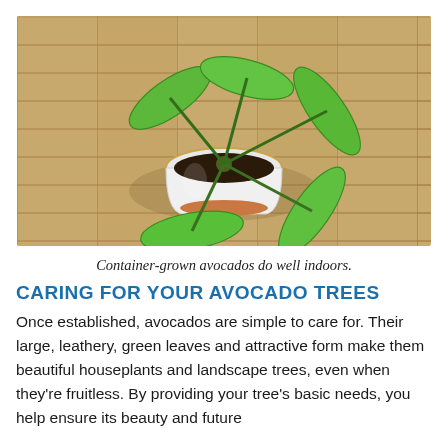[Figure (photo): Overhead view of a young avocado plant in a white pot on a wooden slatted surface. The plant has several large bright green leaves radiating outward from the center.]
Container-grown avocados do well indoors.
CARING FOR YOUR AVOCADO TREES
Once established, avocados are simple to care for. Their large, leathery, green leaves and attractive form make them beautiful houseplants and landscape trees, even when they're fruitless. By providing your tree's basic needs, you help ensure its beauty and future